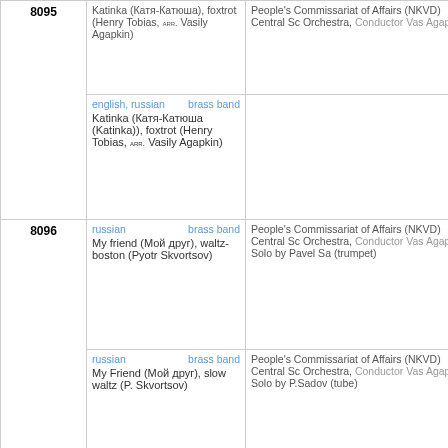| Catalog# | Details | Performer |
| --- | --- | --- |
| 8095 | english, russian | brass band
Katinka (Катя-Катюша (Katinka)), foxtrot (Henry Tobias, arr. Vasily Agapkin) | People's Commissariat of Affairs (NKVD) Central Sc Orchestra, Conductor Vas Agapkin |
| 8096 | russian | brass band
My friend (Мой друг), waltz-boston (Pyotr Skvortsov)
russian | brass band
My Friend (Мой друг), slow waltz (P. Skvortsov) | People's Commissariat of Affairs (NKVD) Central Sc Orchestra, Conductor Vas Agapkin, Solo by Pavel Sa (trumpet)
People's Commissariat of Affairs (NKVD) Central Sc Orchestra, Conductor Vas Agapkin, Solo by P.Sadov (tube) |
| 8097 | russian | brass band
Cockerels (Петушки) (I. Yakovlev) | People's Commissariat of Affairs (NKVD) High Scho Orchestra, Conductor Vas Agapkin, Solo by Neugod Grachev (imitation) |